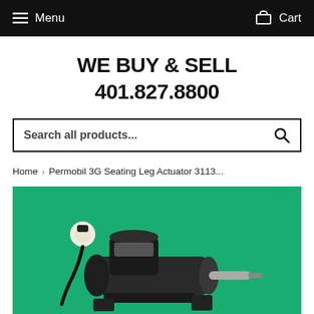Menu  Cart
WE BUY & SELL
401.827.8800
Search all products...
Home > Permobil 3G Seating Leg Actuator 3113...
[Figure (photo): Photo of a Permobil 3G Seating Leg Actuator on a green background. The device is a black electromechanical actuator with cables.]